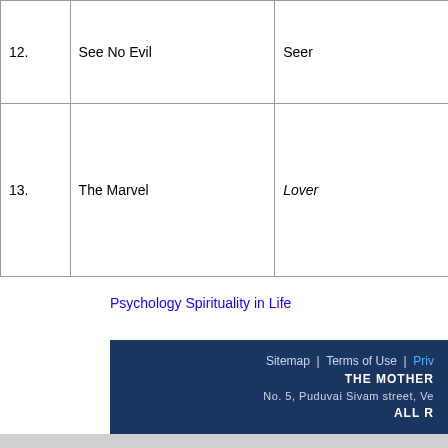|  | Title | Archetype | Description |
| --- | --- | --- | --- |
| 12. | See No Evil | Seer | higher accomplishment & personal progress |
| 13. | The Marvel | Lover | Find Eternal Romance in life |
Psychology Spirituality in Life
Sitemap | Terms of Use | Privacy Policy | THE MOTHER... | No. 5, Puduvai Sivam street, Ve... | ALL RIGHTS RESERVED